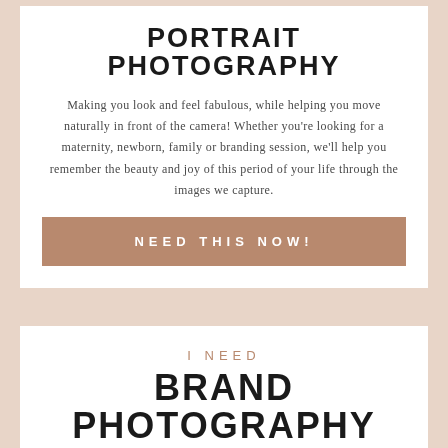PORTRAIT PHOTOGRAPHY
Making you look and feel fabulous, while helping you move naturally in front of the camera! Whether you're looking for a maternity, newborn, family or branding session, we'll help you remember the beauty and joy of this period of your life through the images we capture.
NEED THIS NOW!
I NEED
BRAND PHOTOGRAPHY